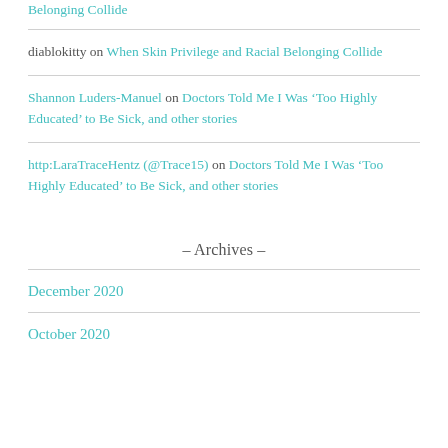diablokitty on When Skin Privilege and Racial Belonging Collide
Shannon Luders-Manuel on Doctors Told Me I Was ‘Too Highly Educated’ to Be Sick, and other stories
http:LaraTraceHentz (@Trace15) on Doctors Told Me I Was ‘Too Highly Educated’ to Be Sick, and other stories
- Archives -
December 2020
October 2020